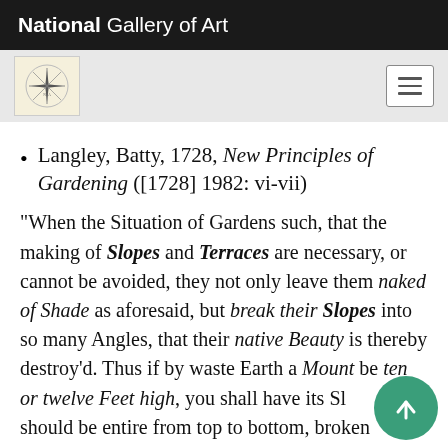National Gallery of Art
[Figure (logo): National Gallery of Art logo/seal on beige background in navigation bar]
Langley, Batty, 1728, New Principles of Gardening ([1728] 1982: vi-vii)
"When the Situation of Gardens such, that the making of Slopes and Terraces are necessary, or cannot be avoided, they not only leave them naked of Shade as aforesaid, but break their Slopes into so many Angles, that their native Beauty is thereby destroy'd. Thus if by waste Earth a Mount be ten or twelve Feet high, you shall have its Sl... that should be entire from top to bottom, broken